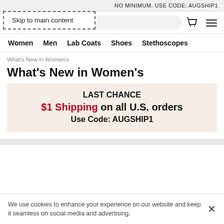NO MINIMUM. USE CODE: AUGSHIP1
Skip to main content
[Figure (logo): AllHeart logo in red bold text]
Women  Men  Lab Coats  Shoes  Stethoscopes
What's New in Women's
What's New in Women's
LAST CHANCE
$1 Shipping on all U.S. orders
Use Code: AUGSHIP1
We use cookies to enhance your experience on our website and keep it seamless on social media and advertising.